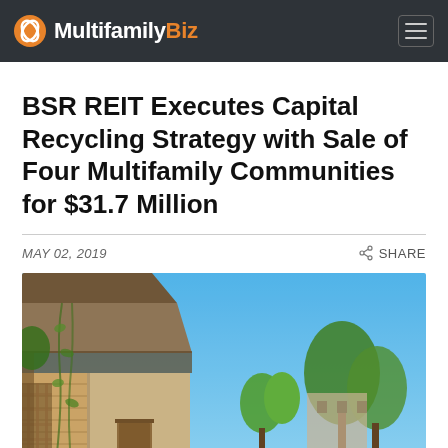MultifamilyBiz
BSR REIT Executes Capital Recycling Strategy with Sale of Four Multifamily Communities for $31.7 Million
MAY 02, 2019
SHARE
[Figure (photo): Exterior photo of a multifamily apartment community with brick and wood-sided buildings, a walkway, lush green trees and bushes, and a bright blue sky in the background.]